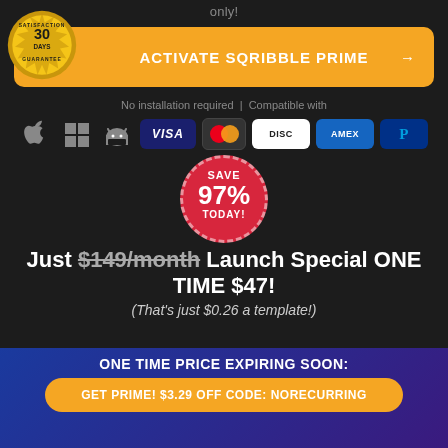only!
[Figure (infographic): Orange activation button with 30-day satisfaction guarantee badge, OS icons (Apple, Windows, Android), and payment method icons (VISA, Mastercard, Discover, AMEX, PayPal)]
No installation required  |  Compatible with
[Figure (infographic): Red circular badge: SAVE 97% TODAY!]
Just $149/month Launch Special ONE TIME $47!
(That's just $0.26 a template!)
ONE TIME PRICE EXPIRING SOON:
GET PRIME! $3.29 OFF CODE: NORECURRING